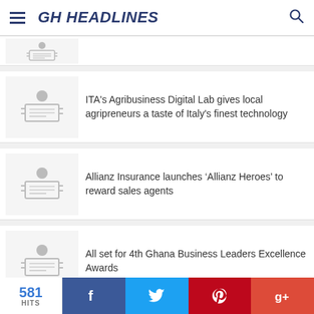GH HEADLINES
[Figure (illustration): Partial news thumbnail - reader icon]
ITA's Agribusiness Digital Lab gives local agripreneurs a taste of Italy's finest technology
Allianz Insurance launches ‘Allianz Heroes’ to reward sales agents
All set for 4th Ghana Business Leaders Excellence Awards
ADS[@]GHHEADLINES.COM
581 HITS | f | twitter | pinterest | g+